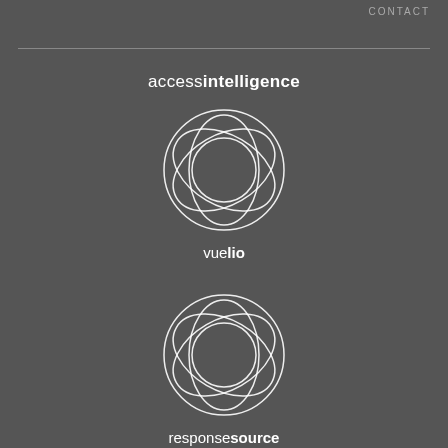CONTACT
[Figure (logo): Access Intelligence logo — text reading 'accessintelligence' with 'access' in light weight and 'intelligence' in bold]
[Figure (logo): Vuelio logo — swirling concentric circles in white outline above text 'vuelio' with 'vue' in light weight and 'lio' in bold]
[Figure (logo): ResponseSource logo — swirling concentric circles in white outline above text 'responsesource' with 'response' in light weight and 'source' in bold]